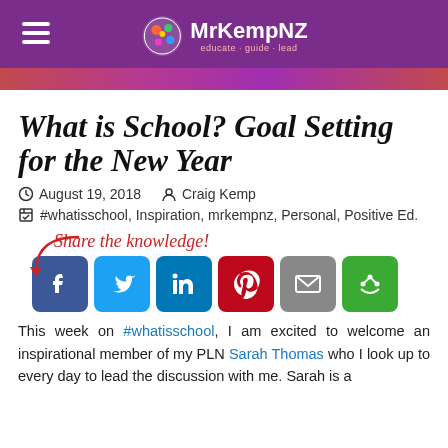MrKempNZ
What is School? Goal Setting for the New Year
August 19, 2018  Craig Kemp
#whatisschool, Inspiration, mrkempnz, Personal, Positive Ed.
Share the knowledge!
[Figure (infographic): Social sharing buttons: Facebook, Twitter, LinkedIn, Pinterest, Email, More]
This week on #whatisschool, I am excited to welcome an inspirational member of my PLN Sarah Thomas who I look up to every day to lead the discussion with me. Sarah is a